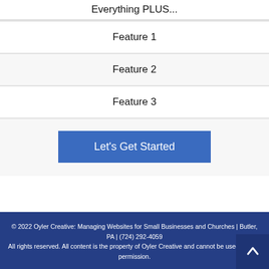Everything PLUS...
Feature 1
Feature 2
Feature 3
Let's Get Started
© 2022 Oyler Creative: Managing Websites for Small Businesses and Churches | Butler, PA | (724) 292-4059
All rights reserved. All content is the property of Oyler Creative and cannot be used without permission.